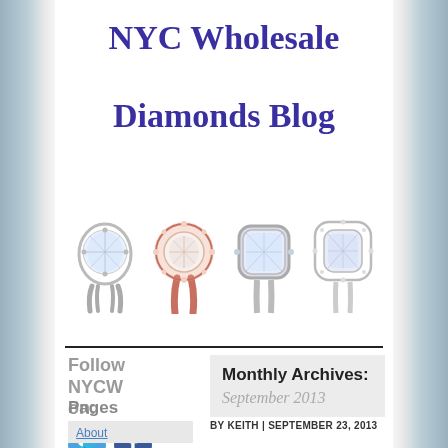NYC Wholesale Diamonds Blog
[Figure (photo): Four diamond engagement rings displayed left to right: silver split-shank solitaire, rose gold halo ring, cushion cut bezel ring, and white gold cushion halo ring]
Follow NYCW on:
[Figure (illustration): Twitter and Facebook social media icon circles in blue]
Monthly Archives:
September 2013
Pages
About
BY KEITH | SEPTEMBER 23, 2013